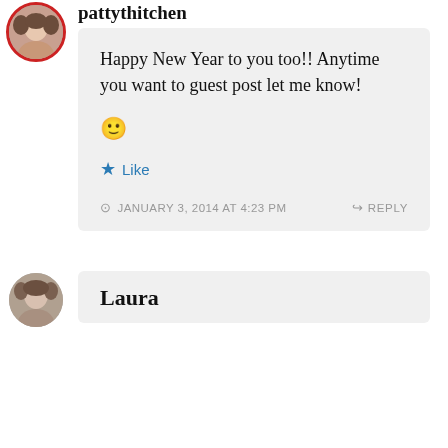pattythitchen
Happy New Year to you too!! Anytime you want to guest post let me know!
🙂
Like
JANUARY 3, 2014 AT 4:23 PM
REPLY
Laura